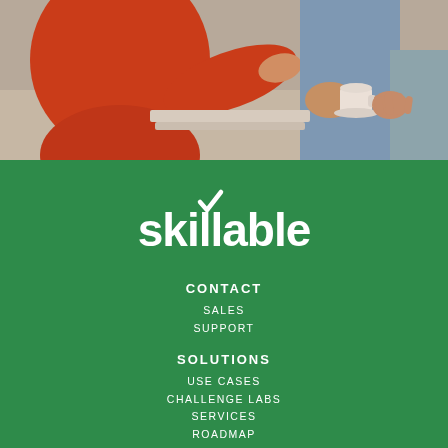[Figure (photo): Business meeting scene with a person in a red/orange blouse and others around a table with coffee cups]
[Figure (logo): Skillable logo with checkmark above the double-l letters, white text on green background]
CONTACT
SALES
SUPPORT
SOLUTIONS
USE CASES
CHALLENGE LABS
SERVICES
ROADMAP
COMPANY